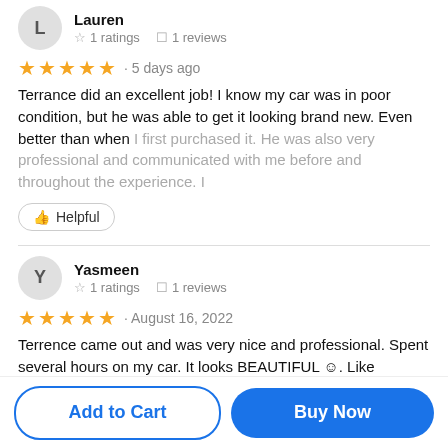Lauren — ☆ 1 ratings  ☐ 1 reviews
★★★★★ · 5 days ago
Terrance did an excellent job! I know my car was in poor condition, but he was able to get it looking brand new. Even better than when I first purchased it. He was also very professional and communicated with me before and throughout the experience. I
👍 Helpful
Yasmeen — ☆ 1 ratings  ☐ 1 reviews
★★★★★ · August 16, 2022
Terrence came out and was very nice and professional. Spent several hours on my car. It looks BEAUTIFUL ☺. Like previous viewer said my 8 year old car looks brand new again. Will use
Add to Cart
Buy Now